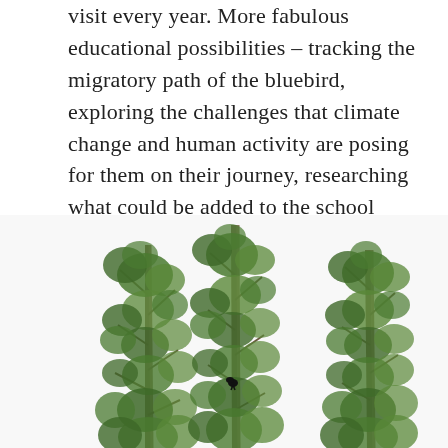visit every year. More fabulous educational possibilities – tracking the migratory path of the bluebird, exploring the challenges that climate change and human activity are posing for them on their journey, researching what could be added to the school grounds to make it an even more inviting stop over spot for them.
[Figure (photo): Three tall, slender poplar/cottonwood trees with green leafy foliage against a white background. A small dark bird is perched on the middle tree. Trees extend beyond the bottom of the frame.]